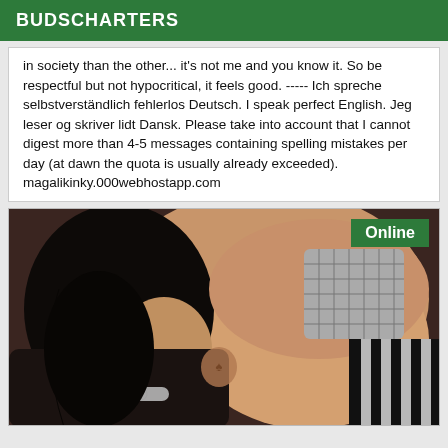BUDSCHARTERS
in society than the other... it's not me and you know it. So be respectful but not hypocritical, it feels good. ----- Ich spreche selbstverständlich fehlerlos Deutsch. I speak perfect English. Jeg leser og skriver lidt Dansk. Please take into account that I cannot digest more than 4-5 messages containing spelling mistakes per day (at dawn the quota is usually already exceeded). magalikinky.000webhostapp.com
[Figure (photo): Woman posing, with 'Online' badge in top right corner of image]